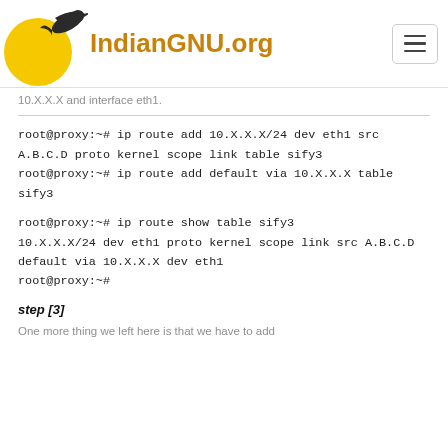IndianGNU.org
10.X.X.X and interface eth1.
root@proxy:~# ip route add 10.X.X.X/24 dev eth1 src A.B.C.D proto kernel scope link table sify3
root@proxy:~# ip route add default via 10.X.X.X table sify3
root@proxy:~# ip route show table sify3
10.X.X.X/24 dev eth1 proto kernel scope link src A.B.C.D
default via 10.X.X.X dev eth1
root@proxy:~#
step [3]
One more thing we left here is that we have to add